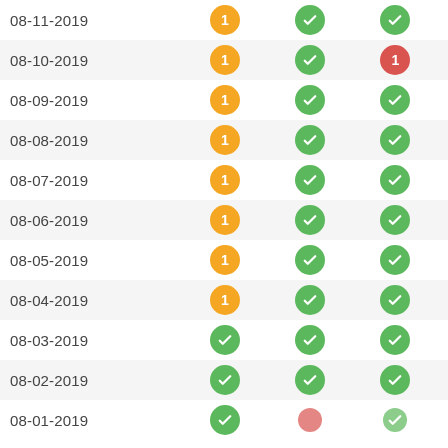| Date | Col1 | Col2 | Col3 |
| --- | --- | --- | --- |
| 08-11-2019 | 1 (orange) | check (green) | check (green) |
| 08-10-2019 | 1 (orange) | check (green) | 1 (red) |
| 08-09-2019 | 1 (orange) | check (green) | check (green) |
| 08-08-2019 | 1 (orange) | check (green) | check (green) |
| 08-07-2019 | 1 (orange) | check (green) | check (green) |
| 08-06-2019 | 1 (orange) | check (green) | check (green) |
| 08-05-2019 | 1 (orange) | check (green) | check (green) |
| 08-04-2019 | 1 (orange) | check (green) | check (green) |
| 08-03-2019 | check (green) | check (green) | check (green) |
| 08-02-2019 | check (green) | check (green) | check (green) |
| 08-01-2019 | check (green) | ? (red) | check (green) |